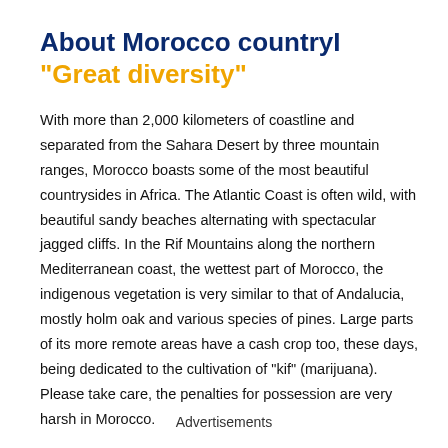About Morocco countryI
"Great diversity"
With more than 2,000 kilometers of coastline and separated from the Sahara Desert by three mountain ranges, Morocco boasts some of the most beautiful countrysides in Africa. The Atlantic Coast is often wild, with beautiful sandy beaches alternating with spectacular jagged cliffs. In the Rif Mountains along the northern Mediterranean coast, the wettest part of Morocco, the indigenous vegetation is very similar to that of Andalucia, mostly holm oak and various species of pines. Large parts of its more remote areas have a cash crop too, these days, being dedicated to the cultivation of "kif" (marijuana). Please take care, the penalties for possession are very harsh in Morocco.
Advertisements